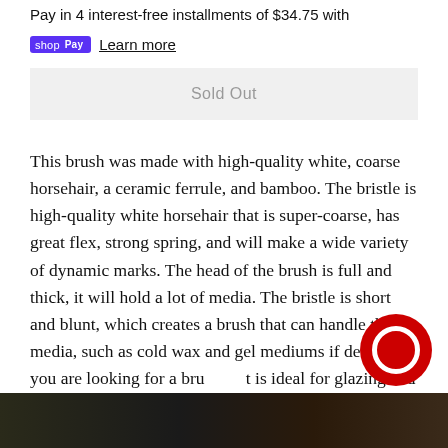Pay in 4 interest-free installments of $34.75 with
shop Pay   Learn more
Sold Out
This brush was made with high-quality white, coarse horsehair, a ceramic ferrule, and bamboo. The bristle is high-quality white horsehair that is super-coarse, has great flex, strong spring, and will make a wide variety of dynamic marks. The head of the brush is full and thick, it will hold a lot of media. The bristle is short and blunt, which creates a brush that can handle thick media, such as cold wax and gel mediums if desired. If you are looking for a brush that is ideal for glazing and making scrubby marks.
[Figure (photo): Partial dark photo at bottom of page, appears to show a brush or art supply item]